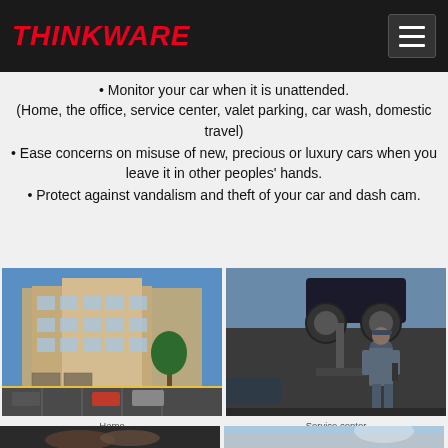THINKWARE
Monitor your car when it is unattended. (Home, the office, service center, valet parking, car wash, domestic travel)
Ease concerns on misuse of new, precious or luxury cars when you leave it in other peoples' hands.
Protect against vandalism and theft of your car and dash cam.
[Figure (photo): Residential apartment building exterior with parking lot]
Home
[Figure (photo): Mechanic standing in service center with car lifted on jack]
Service center
[Figure (photo): Close-up of hands, dark background]
[Figure (photo): Person working on car wash, car roof visible]